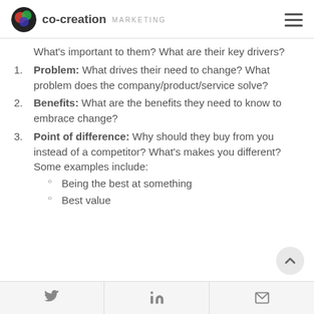co-creation MARKETING
What's important to them? What are their key drivers?
Problem: What drives their need to change? What problem does the company/product/service solve?
Benefits: What are the benefits they need to know to embrace change?
Point of difference: Why should they buy from you instead of a competitor? What's makes you different? Some examples include:
Being the best at something
Best value
Twitter | LinkedIn | Email